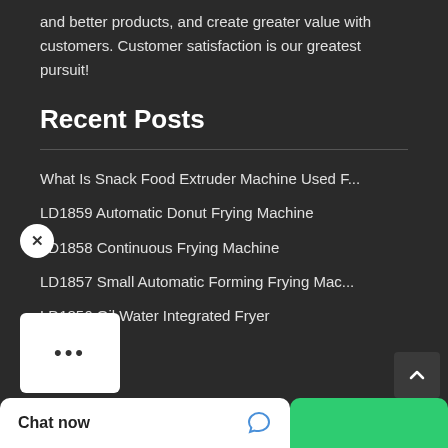and better products, and create greater value with customers. Customer satisfaction is our greatest pursuit!
Recent Posts
What Is Snack Food Extruder Machine Used F...
LD1859 Automatic Donut Frying Machine
LD1858 Continuous Frying Machine
LD1857 Small Automatic Forming Frying Mac...
LD1856 Oil Water Integrated Fryer